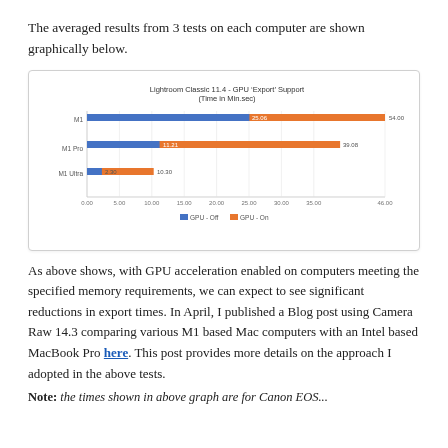The averaged results from 3 tests on each computer are shown graphically below.
[Figure (grouped-bar-chart): Lightroom Classic 11.4 - GPU 'Export' Support (Time in Min.sec)]
As above shows, with GPU acceleration enabled on computers meeting the specified memory requirements, we can expect to see significant reductions in export times. In April, I published a Blog post using Camera Raw 14.3 comparing various M1 based Mac computers with an Intel based MacBook Pro here. This post provides more details on the approach I adopted in the above tests.
Note: the times shown in above graph are for Canon EOS...